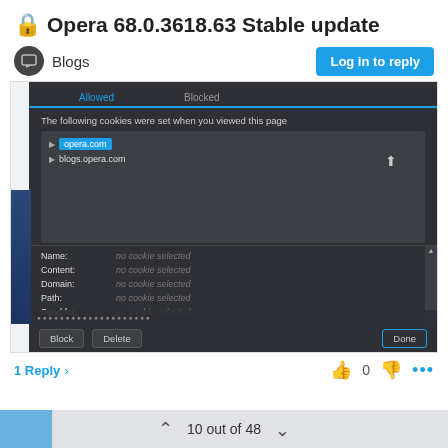🔒 Opera 68.0.3618.63 Stable update
Blogs
Log in to reply
[Figure (screenshot): Dark-themed Opera browser Cookies dialog showing Allowed and Blocked tabs. Allowed tab selected. Text reads: 'The following cookies were set when you viewed this page'. Two cookie entries listed: opera.com (highlighted in blue) and blogs.opera.com. Below a properties panel with fields: Name, Content, Domain, Path, Send for – all showing 'no cookie selected'. Scrollbar on right. Buttons at bottom: Block, Delete, Done.]
1 Reply >
10 out of 48